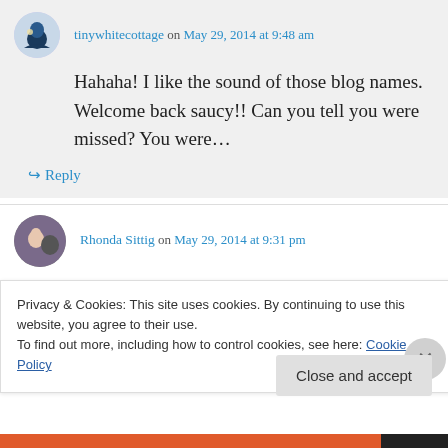tinywhitecottage on May 29, 2014 at 9:48 am
Hahaha! I like the sound of those blog names. Welcome back saucy!! Can you tell you were missed? You were…
↪ Reply
Rhonda Sittig on May 29, 2014 at 9:31 pm
Oh gosh, what a great breakfast to share with
Privacy & Cookies: This site uses cookies. By continuing to use this website, you agree to their use.
To find out more, including how to control cookies, see here: Cookie Policy
Close and accept